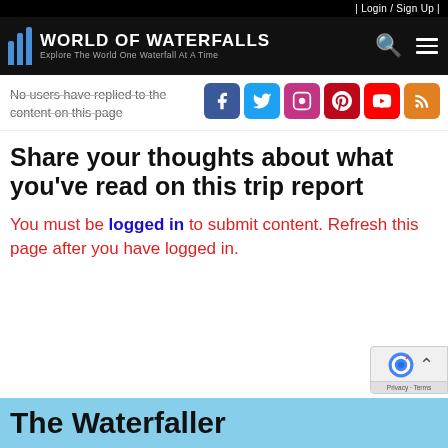| Login / Sign Up |
[Figure (logo): World of Waterfalls logo with blue stripe waterfall icon and tagline 'Explore The World One Waterfall At A Time']
No users have replied to the content on this page
[Figure (infographic): Social media icons: Facebook, Twitter, Instagram, Pinterest, YouTube, RSS feed]
Share your thoughts about what you've read on this trip report
You must be logged in to submit content. Refresh this page after you have logged in.
The Waterfaller